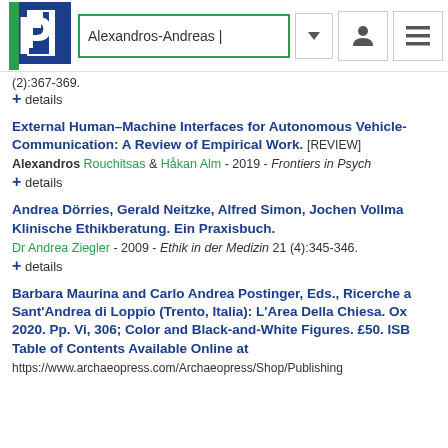Alexandros-Andreas |
(2):367-369.
+ details
External Human–Machine Interfaces for Autonomous Vehicle-Communication: A Review of Empirical Work. [REVIEW]
Alexandros Rouchitsas & Håkan Alm - 2019 - Frontiers in Psych
+ details
Andrea Dörries, Gerald Neitzke, Alfred Simon, Jochen Vollman Klinische Ethikberatung. Ein Praxisbuch.
Dr Andrea Ziegler - 2009 - Ethik in der Medizin 21 (4):345-346.
+ details
Barbara Maurina and Carlo Andrea Postinger, Eds., Ricerche Sant'Andrea di Loppio (Trento, Italia): L'Area Della Chiesa. Ox 2020. Pp. Vi, 306; Color and Black-and-White Figures. £50. ISB Table of Contents Available Online at
https://www.archaeopress.com/Archaeopress/Shop/Publishing